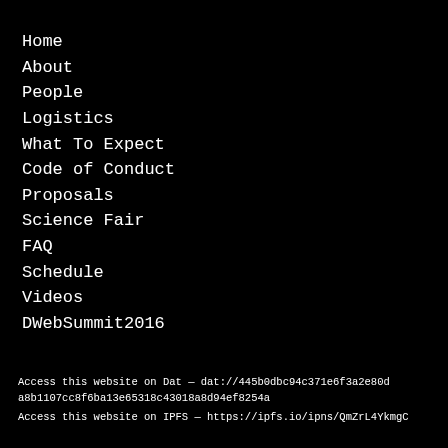Home
About
People
Logistics
What To Expect
Code of Conduct
Proposals
Science Fair
FAQ
Schedule
Videos
DWebSummit2016
Access this website on Dat — dat://445b0dbc94c371e6f3a2e80da8b1107cc8f6ba13e65318c43018a8d94ef8254a
Access this website on IPFS — https://ipfs.io/ipns/QmZrL4YkmgC